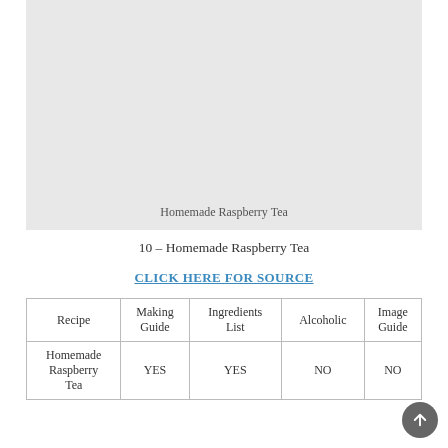[Figure (photo): Large light gray placeholder image area for Homemade Raspberry Tea]
Homemade Raspberry Tea
10 – Homemade Raspberry Tea
CLICK HERE FOR SOURCE
| Recipe | Making Guide | Ingredients List | Alcoholic | Image Guide |
| --- | --- | --- | --- | --- |
| Homemade Raspberry Tea | YES | YES | NO | NO |